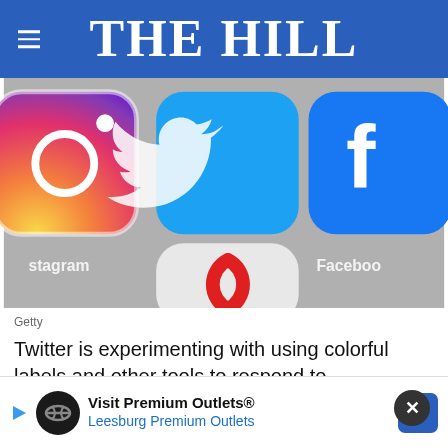THE HILL
[Figure (photo): Close-up photo of smartphone screen showing social media app icons: Instagram, Twitter (blue bird), Facebook, and another app partially visible at bottom. App labels 'Twitter' and 'Facebook' visible beneath icons.]
Getty
Twitter is experimenting with using colorful labels and other tools to respond to misinformation from political and public figures on its platform, comp…
In the potential version of Twitter, incorrect or…